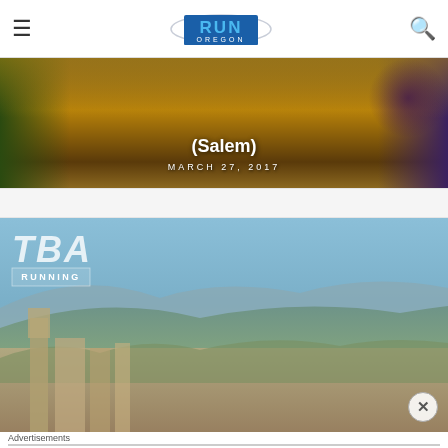Run Oregon
[Figure (photo): Dark vineyard/autumn background photo with white text overlay showing '(Salem)' and date 'MARCH 27, 2017']
(Salem)
MARCH 27, 2017
[Figure (photo): Aerial cityscape photo of Portland Oregon with mountains in background, overlaid with TBA text and RUNNING badge]
Advertisements